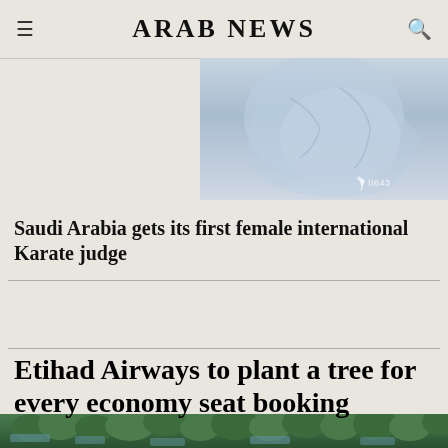ARAB NEWS
[Figure (photo): Photo of a person in light blue/white clothing, partially cropped, with a watermark overlay]
Saudi Arabia gets its first female international Karate judge
Etihad Airways to plant a tree for every economy seat booking
[Figure (photo): Aerial view of mangrove trees and waterways, with walkways and green foliage visible from above]